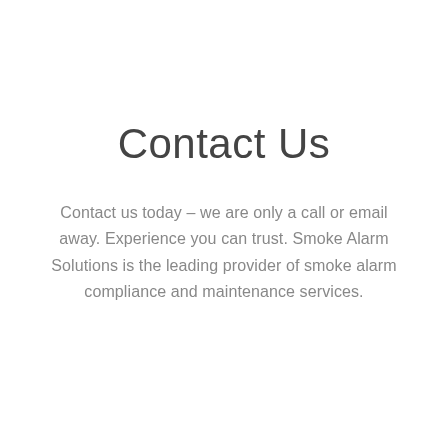Contact Us
Contact us today – we are only a call or email away. Experience you can trust. Smoke Alarm Solutions is the leading provider of smoke alarm compliance and maintenance services.